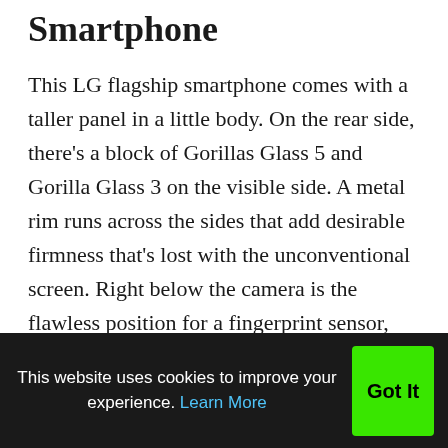Smartphone
This LG flagship smartphone comes with a taller panel in a little body. On the rear side, there's a block of Gorillas Glass 5 and Gorilla Glass 3 on the visible side. A metal rim runs across the sides that add desirable firmness that's lost with the unconventional screen. Right below the camera is the flawless position for a fingerprint sensor, just where your finger naturally rests while you pick it
This website uses cookies to improve your experience. Learn More  Got It